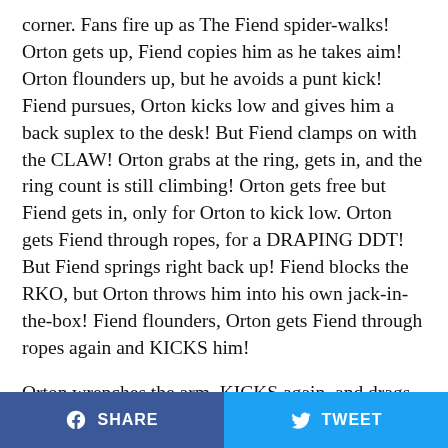corner. Fans fire up as The Fiend spider-walks! Orton gets up, Fiend copies him as he takes aim! Orton flounders up, but he avoids a punt kick! Fiend pursues, Orton kicks low and gives him a back suplex to the desk! But Fiend clamps on with the CLAW! Orton grabs at the ring, gets in, and the ring count is still climbing! Orton gets free but Fiend gets in, only for Orton to kick low. Orton gets Fiend through ropes, for a DRAPING DDT! But Fiend springs right back up! Fiend blocks the RKO, but Orton throws him into his own jack-in-the-box! Fiend flounders, Orton gets Fiend through ropes again and KICKS him!
Orton wrenches the arm, KICKS again, and drags Fiend into ANOTHER DRAPING DDT! Orton looms over Fiend and stomps a hand! Fiend barely flinches, so Orton stomps the other hand! Orton throws hands and clubbing
SHARE   TWEET